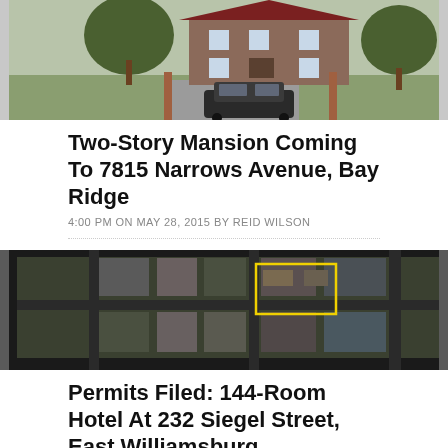[Figure (photo): Street-level aerial/overhead photo of a large two-story mansion with a brick facade, trees, and a dark SUV parked in the driveway.]
Two-Story Mansion Coming To 7815 Narrows Avenue, Bay Ridge
4:00 PM ON MAY 28, 2015 BY REID WILSON
[Figure (map): Aerial satellite map view of a city block in East Williamsburg with a yellow rectangle outline highlighting a property at 232 Siegel Street.]
Permits Filed: 144-Room Hotel At 232 Siegel Street, East Williamsburg
10:45 AM ON MAY 28, 2015 BY REBECCA BAIRD-REMBA